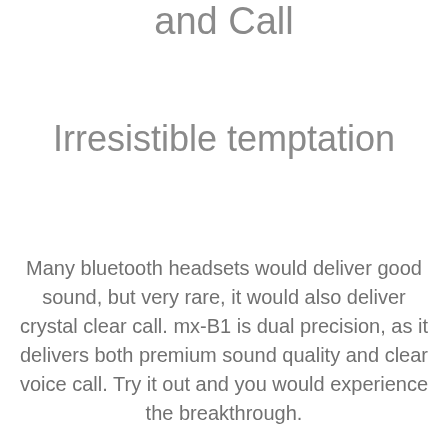and Call
Irresistible temptation
Many bluetooth headsets would deliver good sound, but very rare, it would also deliver crystal clear call. mx-B1 is dual precision, as it delivers both premium sound quality and clear voice call. Try it out and you would experience the breakthrough.